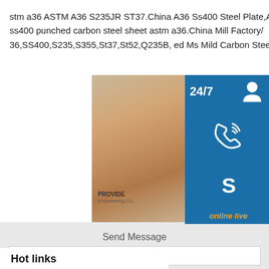stm a36 ASTM A36 S235JR ST37.China A36 Ss400 Steel Plate,A36 Ss400 Steel Plate q235b st37 ss400 punched carbon steel sheet astm a36.China Mill Factory A36,SS400,S235,S355,St37,St52,Q235B, ed Ms Mild Carbon Steel Plate
[Figure (screenshot): Customer service overlay panel with 24/7 label, headset icon, phone icon, Skype icon, 'online live' button, and photo of a woman with headset, and PROVIDE Empowering Customers text]
Send Message
Your Name
Email
Message
Send Message
Hot links